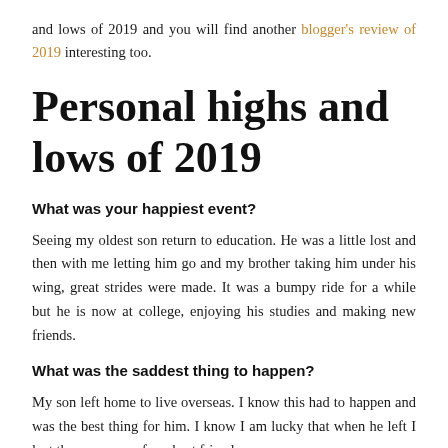and lows of 2019 and you will find another blogger's review of 2019 interesting too.
Personal highs and lows of 2019
What was your happiest event?
Seeing my oldest son return to education. He was a little lost and then with me letting him go and my brother taking him under his wing, great strides were made. It was a bumpy ride for a while but he is now at college, enjoying his studies and making new friends.
What was the saddest thing to happen?
My son left home to live overseas. I know this had to happen and was the best thing for him. I know I am lucky that when he left I lost the company of my best friend so...